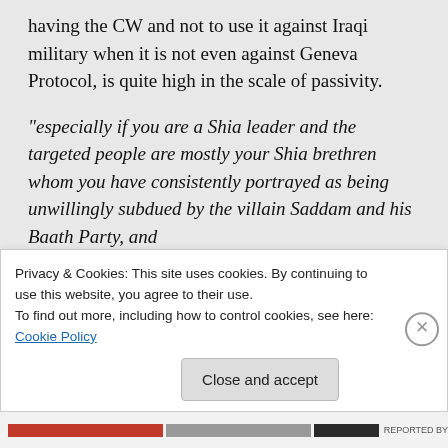having the CW and not to use it against Iraqi military when it is not even against Geneva Protocol, is quite high in the scale of passivity.
“especially if you are a Shia leader and the targeted people are mostly your Shia brethren whom you have consistently portrayed as being unwillingly subdued by the villain Saddam and his Baath Party, and
Privacy & Cookies: This site uses cookies. By continuing to use this website, you agree to their use.
To find out more, including how to control cookies, see here: Cookie Policy